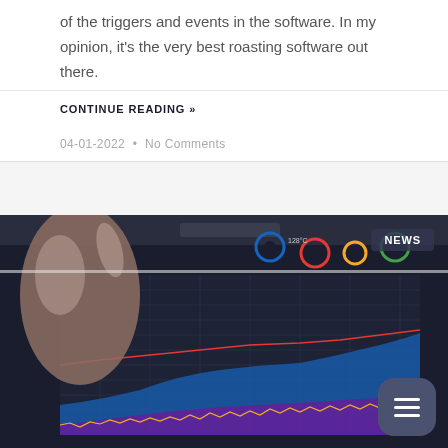of the triggers and events in the software. In my opinion, it's the very best roasting software out there.
CONTINUE READING »
04-01-2022 • No Comments
[Figure (photo): A hand pointing at a tablet screen showing roasting software with charts, graphs, and gauge controls. A 'NEWS' badge is visible in the upper right corner of the image.]